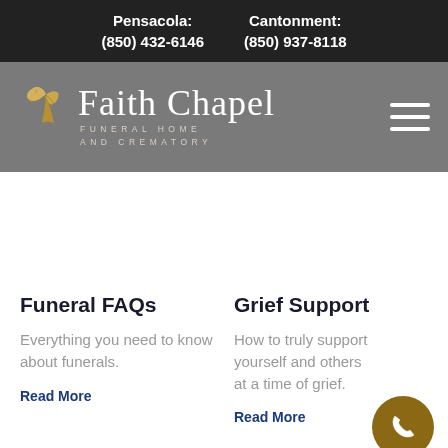Pensacola: (850) 432-6146   Cantonment: (850) 937-8118
[Figure (logo): Faith Chapel Funeral Home and Crematory logo with a golden bird icon and white serif text on a gray background, with hamburger menu icon on right]
Funeral FAQs
Everything you need to know about funerals.
Read More
Grief Support
How to truly support yourself and others at a time of grief.
Read More